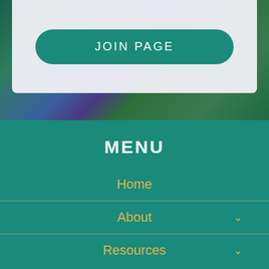[Figure (photo): Top section with white card overlay on a floral/garden background (purple and green flowers). Contains a teal rounded-rectangle JOIN PAGE button.]
JOIN PAGE
MENU
Home
About
Resources